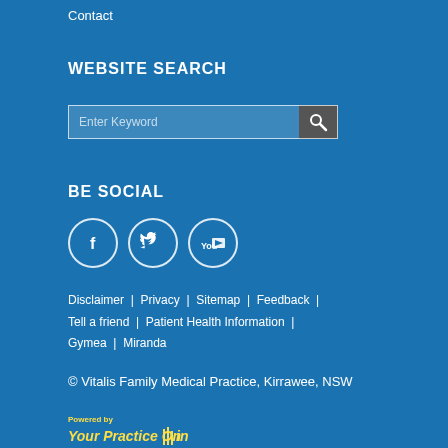Contact
WEBSITE SEARCH
[Figure (other): Search bar with text input field labeled 'Enter Keyword' and a search button with magnifying glass icon]
BE SOCIAL
[Figure (other): Three social media icon circles: Facebook (f), Twitter (bird), YouTube (play button)]
Disclaimer | Privacy | Sitemap | Feedback | Tell a friend | Patient Health Information | Gymea | Miranda
© Vitalis Family Medical Practice, Kirrawee, NSW
[Figure (logo): Powered by Your Practice Online logo in yellow text]